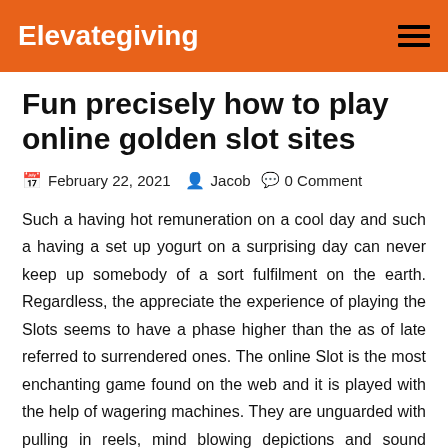Elevategiving
Fun precisely how to play online golden slot sites
February 22, 2021  Jacob  0 Comment
Such a having hot remuneration on a cool day and such a having a set up yogurt on a surprising day can never keep up somebody of a sort fulfilment on the earth. Regardless, the appreciate the experience of playing the Slots seems to have a phase higher than the as of late referred to surrendered ones. The online Slot is the most enchanting game found on the web and it is played with the help of wagering machines. They are unguarded with pulling in reels, mind blowing depictions and sound prompts which give a sensible